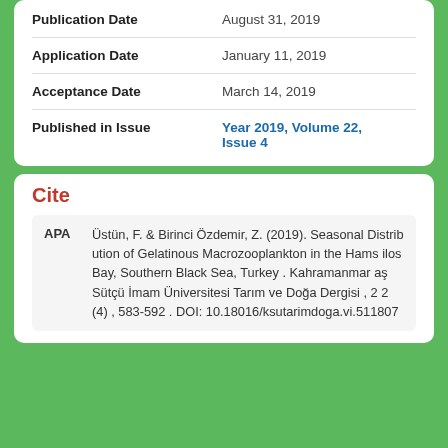| Field | Value |
| --- | --- |
| Publication Date | August 31, 2019 |
| Application Date | January 11, 2019 |
| Acceptance Date | March 14, 2019 |
| Published in Issue | Year 2019, Volume 22, Issue 4 |
Cite
APA  Üstün, F. & Birinci Özdemir, Z. (2019). Seasonal Distribution of Gelatinous Macrozooplankton in the Hamsilos Bay, Southern Black Sea, Turkey . Kahramanmaraş Sütçü İmam Üniversitesi Tarım ve Doğa Dergisi , 22 (4) , 583-592 . DOI: 10.18016/ksutarimdoga.vi.511807